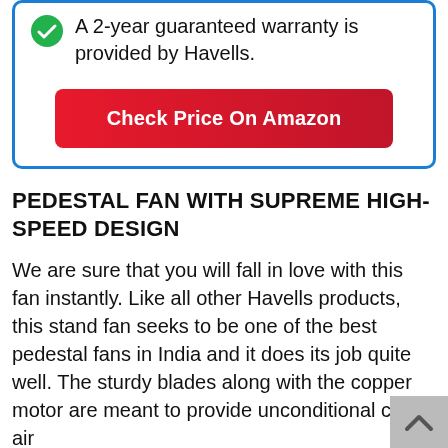A 2-year guaranteed warranty is provided by Havells.
[Figure (other): Red button labeled 'Check Price On Amazon']
PEDESTAL FAN WITH SUPREME HIGH-SPEED DESIGN
We are sure that you will fall in love with this fan instantly. Like all other Havells products, this stand fan seeks to be one of the best pedestal fans in India and it does its job quite well. The sturdy blades along with the copper motor are meant to provide unconditional cool air